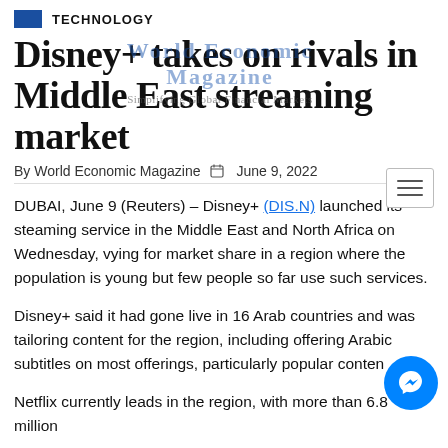TECHNOLOGY
Disney+ takes on rivals in Middle East streaming market
By World Economic Magazine  June 9, 2022
DUBAI, June 9 (Reuters) – Disney+ (DIS.N) launched its steaming service in the Middle East and North Africa on Wednesday, vying for market share in a region where the population is young but few people so far use such services.
Disney+ said it had gone live in 16 Arab countries and was tailoring content for the region, including offering Arabic subtitles on most offerings, particularly popular conten
Netflix currently leads in the region, with more than 6.8 million